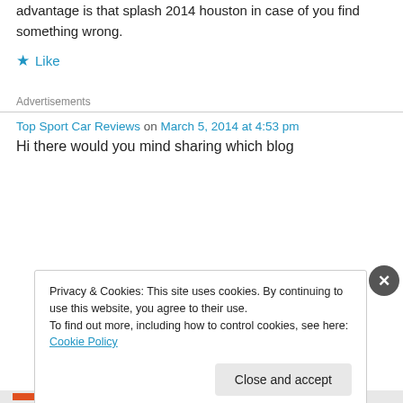advantage is that splash 2014 houston in case of you find something wrong.
★ Like
Advertisements
Top Sport Car Reviews on March 5, 2014 at 4:53 pm
Hi there would you mind sharing which blog
Privacy & Cookies: This site uses cookies. By continuing to use this website, you agree to their use.
To find out more, including how to control cookies, see here: Cookie Policy
Close and accept